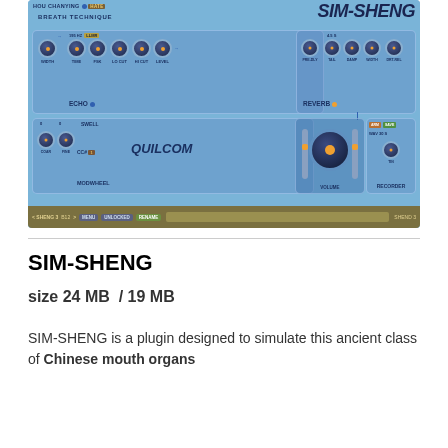[Figure (screenshot): Screenshot of SIM-SHENG plugin UI showing echo, reverb, volume, recorder sections with knobs, and Quilcom branding on a light blue background]
SIM-SHENG
size 24 MB  / 19 MB
SIM-SHENG is a plugin designed to simulate this ancient class of Chinese mouth organs